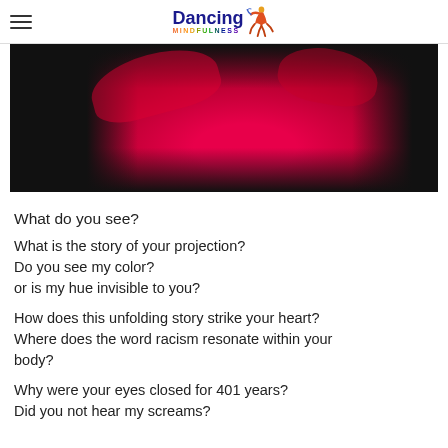Dancing Mindfulness
[Figure (photo): Close-up photo of a person wearing a bright red/pink off-shoulder garment against a dark/black background. Only the torso and fabric are visible.]
What do you see?
What is the story of your projection?
Do you see my color?
or is my hue invisible to you?
How does this unfolding story strike your heart?
Where does the word racism resonate within your body?
Why were your eyes closed for 401 years?
Did you not hear my screams?